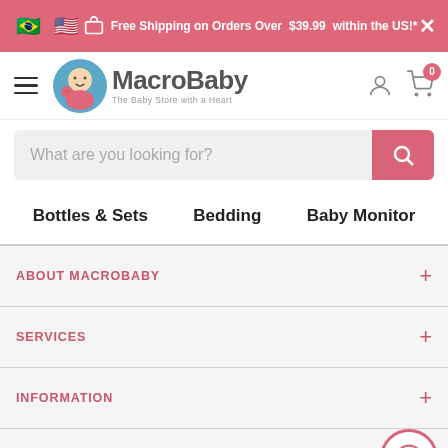Free Shipping on Orders Over $39.99 within the US!*
[Figure (logo): MacroBaby logo - The Baby Store with a Heart]
What are you looking for?
Bottles & Sets   Bedding   Baby Monitor
ABOUT MACROBABY
SERVICES
INFORMATION
CONTACT US